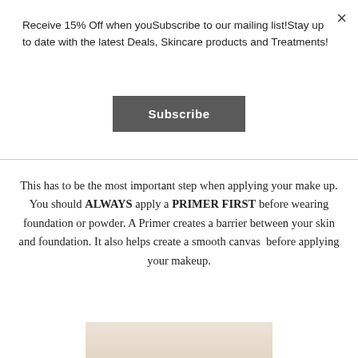Receive 15% Off when youSubscribe to our mailing list!Stay up to date with the latest Deals, Skincare products and Treatments!
×
Subscribe
This has to be the most important step when applying your make up. You should ALWAYS apply a PRIMER FIRST before wearing foundation or powder. A Primer creates a barrier between your skin and foundation. It also helps create a smooth canvas  before applying your makeup.
[Figure (photo): Partial view of a skincare/makeup primer product on a beige/nude background, showing the bottom portion of the product with a green line or label element at the base]